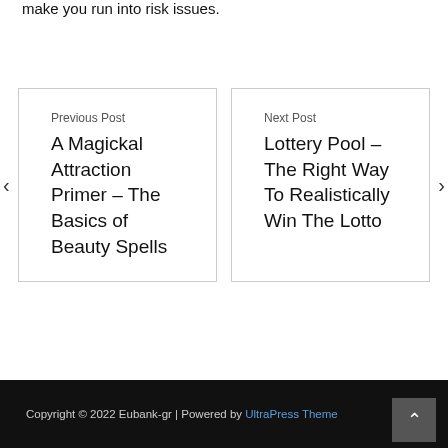make you run into risk issues.
Previous Post
A Magickal Attraction Primer – The Basics of Beauty Spells
Next Post
Lottery Pool – The Right Way To Realistically Win The Lotto
Copyright © 2022 Eubank-gr | Powered by UltraPress Theme